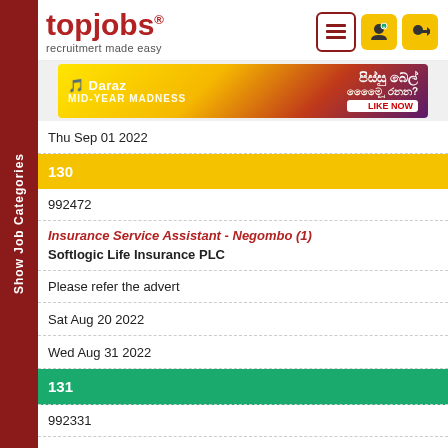[Figure (logo): topjobs logo with tagline 'recruitmert made easy']
[Figure (photo): Daraz Mid-Year Madness advertisement banner]
Thu Sep 01 2022
130
992472
Insurance Service Assistant - Negombo (1)
Softlogic Life Insurance PLC
Please refer the advert
Sat Aug 20 2022
Wed Aug 31 2022
131
992331
Show Job Categories